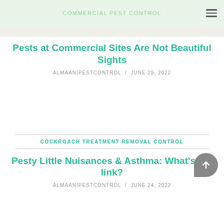COMMERCIAL PEST CONTROL
Pests at Commercial Sites Are Not Beautiful Sights
ALMAANIPESTCONTROL / JUNE 29, 2022
COCKROACH TREATMENT REMOVAL CONTROL
Pesty Little Nuisances & Asthma: What's the link?
ALMAANIPESTCONTROL / JUNE 24, 2022
RODENTS REMOVAL CONTROL TREATMENT